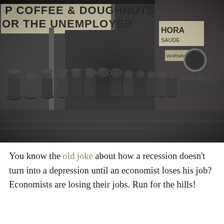[Figure (photo): Black and white historical photograph from the Great Depression era showing a long line of unemployed men queuing outside a storefront with a sign reading 'Coffee & Doughnuts for the Unemployed'. The scene is set on a wet city street.]
You know the old joke about how a recession doesn't turn into a depression until an economist loses his job? Economists are losing their jobs. Run for the hills!